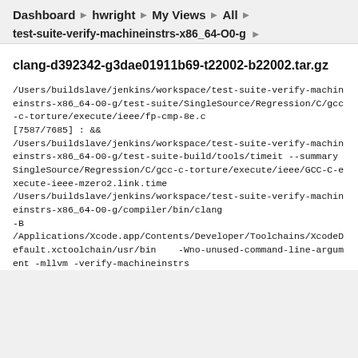Dashboard ▶ hwright ▶ My Views ▶ All ▶
test-suite-verify-machineinstrs-x86_64-O0-g ▶
clang-d392342-g3dae01911b69-t22002-b22002.tar.gz
/Users/buildslave/jenkins/workspace/test-suite-verify-machineinstrs-x86_64-O0-g/test-suite/SingleSource/Regression/C/gcc-c-torture/execute/ieee/fp-cmp-8e.c
[7587/7685] : &&
/Users/buildslave/jenkins/workspace/test-suite-verify-machineinstrs-x86_64-O0-g/test-suite-build/tools/timeit --summary SingleSource/Regression/C/gcc-c-torture/execute/ieee/GCC-C-execute-ieee-mzero2.link.time
/Users/buildslave/jenkins/workspace/test-suite-verify-machineinstrs-x86_64-O0-g/compiler/bin/clang -B
/Applications/Xcode.app/Contents/Developer/Toolchains/XcodeDefault.xctoolchain/usr/bin    -Wno-unused-command-line-argument -mllvm -verify-machineinstrs